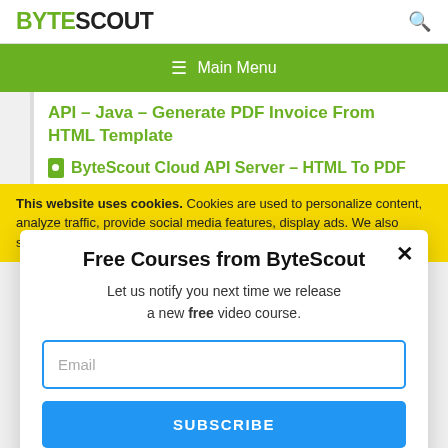BYTESCOUT
≡  Main Menu
API – Java – Generate PDF Invoice From HTML Template
ByteScout Cloud API Server – HTML To PDF
This website uses cookies. Cookies are used to personalize content, analyze traffic, provide social media features, display ads. We also share
Free Courses from ByteScout
Let us notify you next time we release a new free video course.
Email
SUBSCRIBE